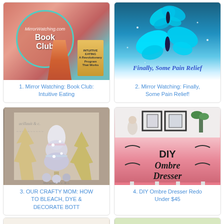[Figure (photo): Book Club image with teal circle overlay and Intuitive Eating book]
[Figure (photo): Blue butterflies on teal background with Finally Some Pain Relief text]
1. Mirror Watching: Book Club: Intuitive Eating
2. Mirror Watching: Finally, Some Pain Relief!
[Figure (photo): White glitter Christmas trees decoration photo]
[Figure (photo): DIY Ombre Dresser photo with pink gradient dresser]
3. OUR CRAFTY MOM: HOW TO BLEACH, DYE & DECORATE BOTT
4. DIY Ombre Dresser Redo Under $45
[Figure (photo): Thanksgiving script text on light background]
[Figure (photo): Quick easy and a great text on green background]